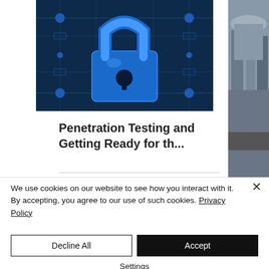[Figure (illustration): Blue padlock on dark blue circuit board background, representing cybersecurity]
Penetration Testing and Getting Ready for th...
We use cookies on our website to see how you interact with it. By accepting, you agree to our use of such cookies. Privacy Policy
Decline All
Accept
Settings